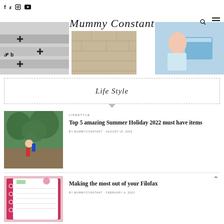Mummy Constant
[Figure (photo): Blog header with three images: left shows stacked items with cross patterns, center shows a wood floor, right shows a child sleeping with luggage]
Life Style
LIFESTYLE
Top 5 amazing Summer Holiday 2022 must have items
BY MUMMYCONSTANT · AUGUST 15, 2022
Making the most out of your Filofax
BY MUMMYCONSTANT · FEBRUARY 4, 2022